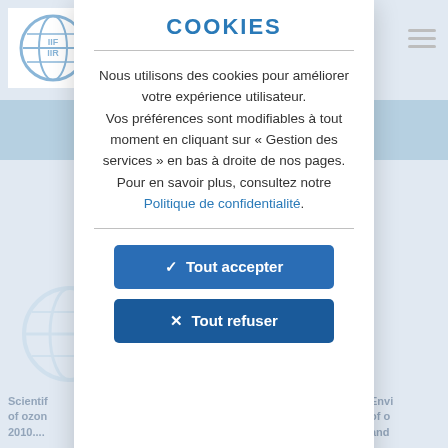[Figure (logo): IIF IIR globe logo in top left corner of background page]
COOKIES
Nous utilisons des cookies pour améliorer votre expérience utilisateur. Vos préférences sont modifiables à tout moment en cliquant sur « Gestion des services » en bas à droite de nos pages. Pour en savoir plus, consultez notre Politique de confidentialité.
✓  Tout accepter
✕  Tout refuser